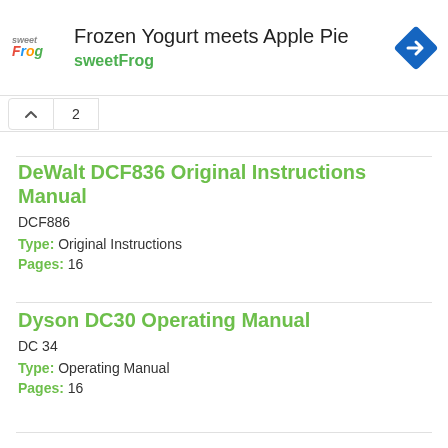[Figure (other): sweetFrog advertisement banner: logo on left, title 'Frozen Yogurt meets Apple Pie', subtitle 'sweetFrog', navigation icon on right]
2
DeWalt DCF836 Original Instructions Manual
DCF886
Type: Original Instructions
Pages: 16
Dyson DC30 Operating Manual
DC 34
Type: Operating Manual
Pages: 16